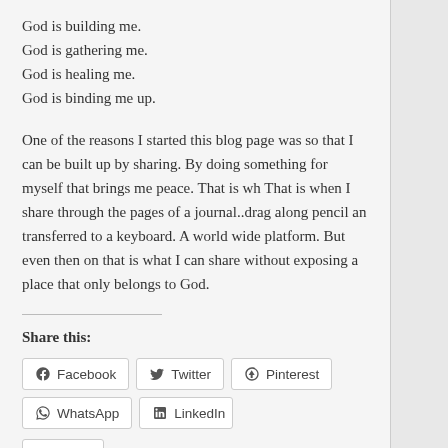God is building me.
God is gathering me.
God is healing me.
God is binding me up.
One of the reasons I started this blog page was so that I can be built up by sharing. By doing something for myself that brings me peace. That is wh That is when I share through the pages of a journal..drag along pencil an transferred to a keyboard. A world wide platform. But even then on that is what I can share without exposing a place that only belongs to God.
Share this:
Facebook  Twitter  Pinterest  WhatsApp  LinkedIn  Email
Loading...
Related
Baby Belle  Recalibrating